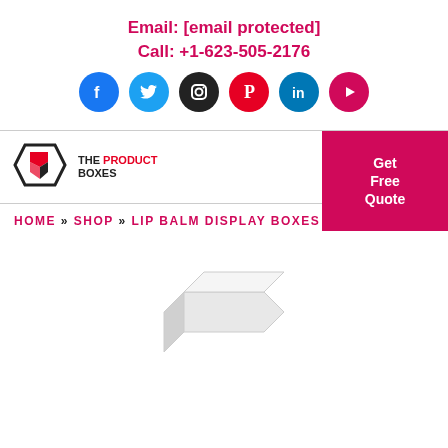Email: [email protected]
Call: +1-623-505-2176
[Figure (infographic): Six social media icon circles: Facebook (blue), Twitter (light blue), Instagram (black), Pinterest (red), LinkedIn (dark blue), YouTube (crimson red)]
[Figure (logo): The Product Boxes logo with red/black hexagonal box icon and text THE PRODUCT BOXES]
Get Free Quote
HOME » SHOP » LIP BALM DISPLAY BOXES
[Figure (photo): Partial product photo of a white box at bottom of page]